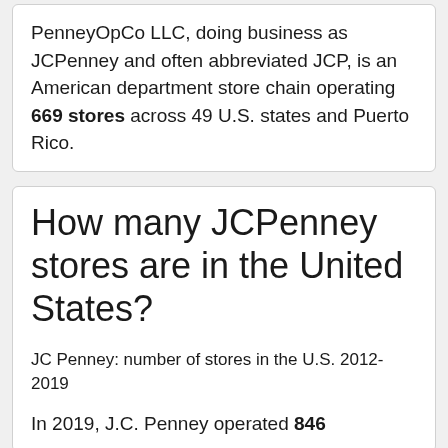PenneyOpCo LLC, doing business as JCPenney and often abbreviated JCP, is an American department store chain operating 669 stores across 49 U.S. states and Puerto Rico.
How many JCPenney stores are in the United States?
JC Penney: number of stores in the U.S. 2012-2019
In 2019, J.C. Penney operated 846